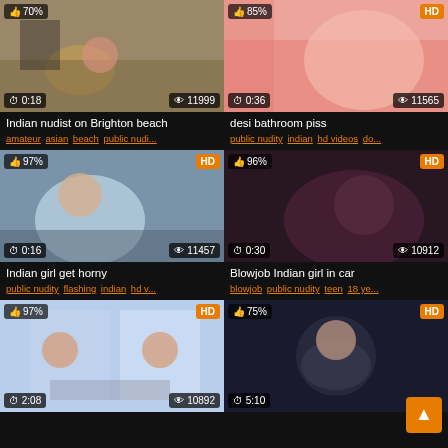[Figure (screenshot): Video thumbnail grid showing 6 video cards, 2 columns, with thumbnails, like percentages, HD badges, duration, view counts, titles and tags]
Indian nudist on Brighton beach
amateur asian beach public nudi...
desi bathroom piss
public nudity indian hd videos do...
Indian girl get horny
public nudity flashing indian hd v...
Blowjob Indian girl in car
blowjob public nudity teen 18 ye...